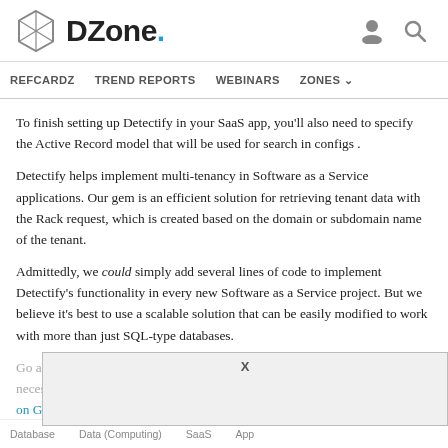DZone
REFCARDZ   TREND REPORTS   WEBINARS   ZONES
To finish setting up Detectify in your SaaS app, you'll also need to specify the Active Record model that will be used for search in configs .
Detectify helps implement multi-tenancy in Software as a Service applications. Our gem is an efficient solution for retrieving tenant data with the Rack request, which is created based on the domain or subdomain name of the tenant.
Admittedly, we could simply add several lines of code to implement Detectify's functionality in every new Software as a Service project. But we believe it's best to use a scalable solution that can be easily modified to work with more than just SQL-type databases.
Go ahead and try out Detectify in your own projects, and extend it if necessary. And if you have any suggestions for changes, commit to Detectify on GitHub.
Database   Data (Computing)   SaaS   App